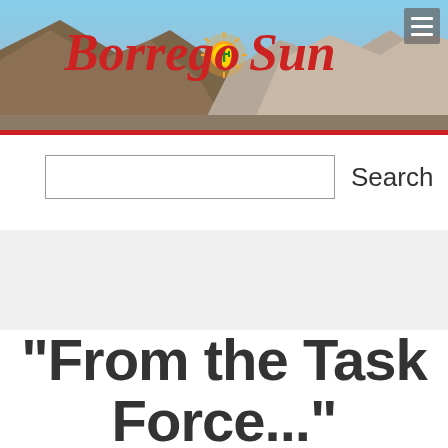[Figure (screenshot): Borrego Sun newspaper website header with mountain landscape photo background, red script logo text reading 'Borrego Sun' with sun illustration, and hamburger menu icon in top right]
Search
"From the Task Force..."
Last updated 8/9/2021 at 9:01am